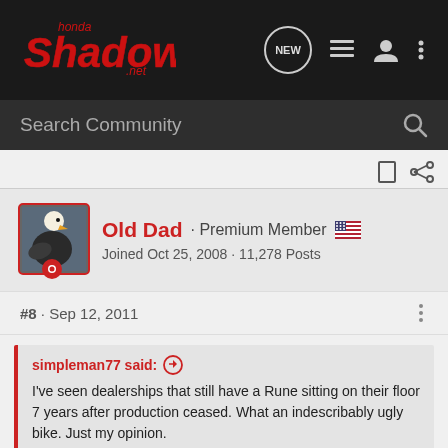[Figure (logo): HondaShadow.net forum logo in red italic text on dark background]
Search Community
Old Dad · Premium Member 🇺🇸
Joined Oct 25, 2008 · 11,278 Posts
#8 · Sep 12, 2011
simpleman77 said: ↑
I've seen dealerships that still have a Rune sitting on their floor 7 years after production ceased. What an indescribably ugly bike. Just my opinion.
+1 I hav… …une is